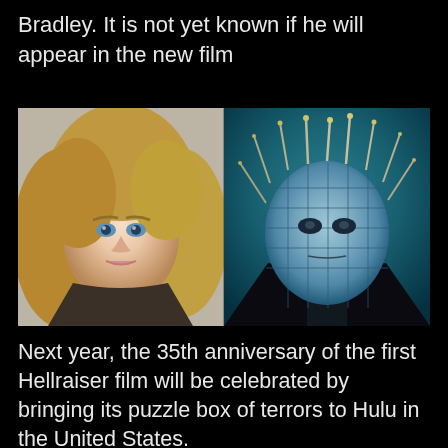Bradley. It is not yet known if he will appear in the new film
[Figure (photo): Side-by-side photos: left shows a young blonde woman with blue eyes and long hair; right shows the Pinhead character from Hellraiser with pins through the head on a dark teal background.]
Next year, the 35th anniversary of the first Hellraiser film will be celebrated by bringing its puzzle box of terrors to Hulu in the United States.